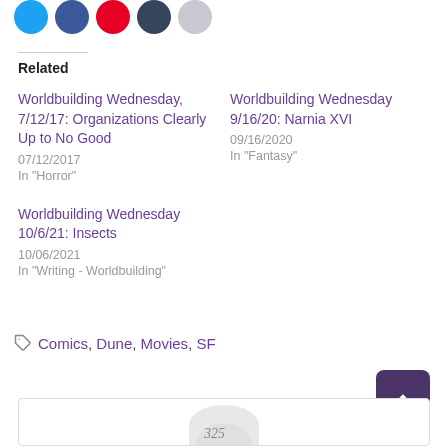[Figure (other): Social media share icon circles: Twitter (blue), Facebook (dark blue), Pinterest (red), Tumblr (dark navy), Email (light gray)]
Related
Worldbuilding Wednesday, 7/12/17: Organizations Clearly Up to No Good
07/12/2017
In "Horror"
Worldbuilding Wednesday 9/16/20: Narnia XVI
09/16/2020
In "Fantasy"
Worldbuilding Wednesday 10/6/21: Insects
10/06/2021
In "Writing - Worldbuilding"
Comics, Dune, Movies, SF
[Figure (illustration): Partial circular avatar image with hand-drawn style sketch visible at bottom of page]